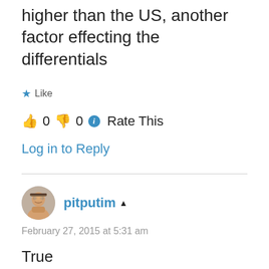higher than the US, another factor effecting the differentials
★ Like
👍 0 👎 0 ℹ Rate This
Log in to Reply
pitputim ✎
February 27, 2015 at 5:31 am
True